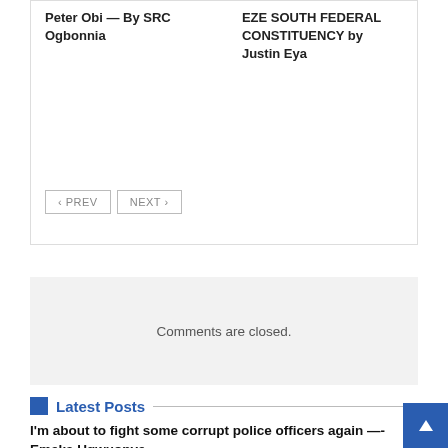Peter Obi — By SRC Ogbonnia
EZE SOUTH FEDERAL CONSTITUENCY by Justin Eya
‹ PREV   NEXT ›
Comments are closed.
Latest Posts
I'm about to fight some corrupt police officers again —- Emeka Ugwuonye
August 31, 2022
Wike: I won't step down, PDP chairman insists
August 31, 2022